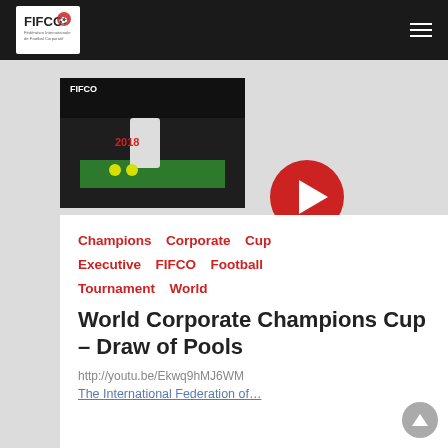FIFCO — Fédération Internationale de Footbal Corporatif
[Figure (screenshot): Video thumbnail showing a person at a table with yellow balls and FIFCO World Corporate Championship 2018 banner in background]
[Figure (other): Red circular play button]
Champions  Corporate  Cup
Executive  FIFCO  Football
Tournament  World
World Corporate Champions Cup – Draw of Pools
http://youtu.be/Ekwq9hMJ6WM
The International Federation of…